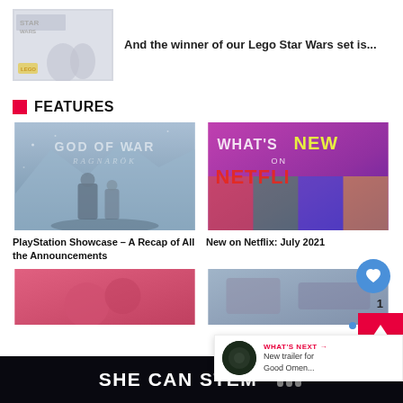[Figure (photo): Star Wars Lego set product image, faded/light tones]
And the winner of our Lego Star Wars set is...
FEATURES
[Figure (photo): God of War Ragnarok game cover art showing two characters in snowy landscape]
PlayStation Showcase – A Recap of All the Announcements
[Figure (photo): What's New on Netflix promotional image with colorful background]
New on Netflix: July 2021
[Figure (photo): Bottom left article thumbnail, pink/red tones]
[Figure (photo): Bottom right article thumbnail]
WHAT'S NEXT → New trailer for Good Omen...
[Figure (logo): SHE CAN STEM banner with logo mark]
SHE CAN STEM